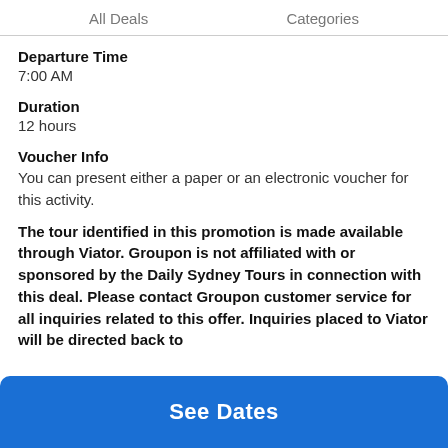All Deals   Categories
Departure Time
7:00 AM
Duration
12 hours
Voucher Info
You can present either a paper or an electronic voucher for this activity.
The tour identified in this promotion is made available through Viator. Groupon is not affiliated with or sponsored by the Daily Sydney Tours in connection with this deal. Please contact Groupon customer service for all inquiries related to this offer. Inquiries placed to Viator will be directed back to
See Dates